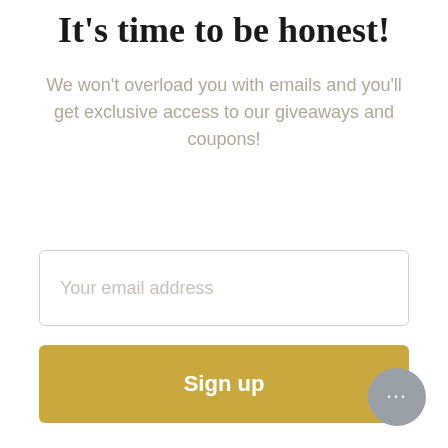It's time to be honest!
We won't overload you with emails and you'll get exclusive access to our giveaways and coupons!
[Figure (screenshot): Email input field with placeholder text 'Your email address']
[Figure (screenshot): Gold/yellow 'Sign up' button]
[Figure (screenshot): Gray circular chat bubble button with ellipsis (…) in the bottom-right corner]